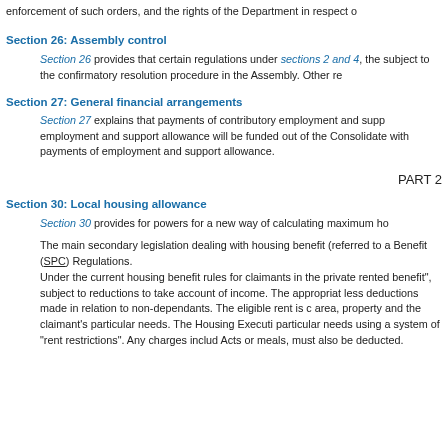enforcement of such orders, and the rights of the Department in respect o
Section 26: Assembly control
Section 26 provides that certain regulations under sections 2 and 4, the subject to the confirmatory resolution procedure in the Assembly. Other re
Section 27: General financial arrangements
Section 27 explains that payments of contributory employment and supp employment and support allowance will be funded out of the Consolidate with payments of employment and support allowance.
PART 2
Section 30: Local housing allowance
Section 30 provides for powers for a new way of calculating maximum ho
The main secondary legislation dealing with housing benefit (referred to a Benefit (SPC) Regulations.
Under the current housing benefit rules for claimants in the private rented benefit", subject to reductions to take account of income. The appropriat less deductions made in relation to non-dependants. The eligible rent is c area, property and the claimant's particular needs. The Housing Executi particular needs using a system of "rent restrictions". Any charges includ Acts or meals, must also be deducted.